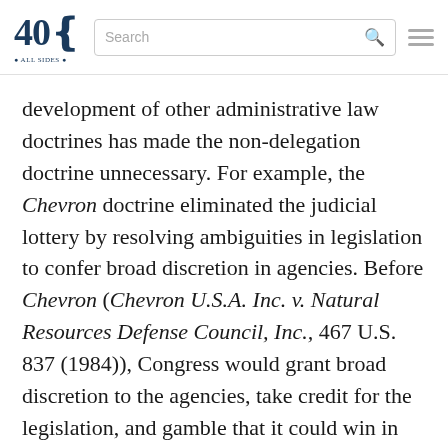40 [logo] Search [search box] [hamburger menu]
development of other administrative law doctrines has made the non-delegation doctrine unnecessary. For example, the Chevron doctrine eliminated the judicial lottery by resolving ambiguities in legislation to confer broad discretion in agencies. Before Chevron (Chevron U.S.A. Inc. v. Natural Resources Defense Council, Inc., 467 U.S. 837 (1984)), Congress would grant broad discretion to the agencies, take credit for the legislation, and gamble that it could win in court if and when the agency went too far. Chevron's, doctrine of upholding